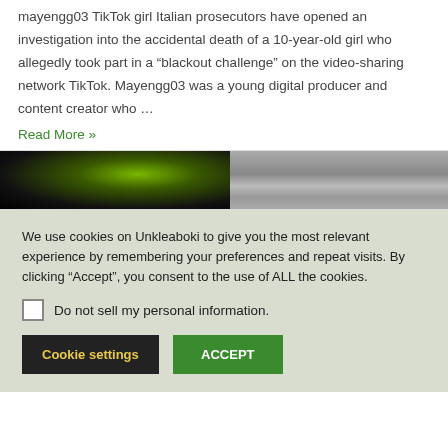mayengg03 TikTok girl Italian prosecutors have opened an investigation into the accidental death of a 10-year-old girl who allegedly took part in a “blackout challenge” on the video-sharing network TikTok. Mayengg03 was a young digital producer and content creator who …
Read More »
[Figure (photo): Two side-by-side dark images, left showing a green glowing circular object against black background, right showing a blurred person against striped background]
We use cookies on Unkleaboki to give you the most relevant experience by remembering your preferences and repeat visits. By clicking “Accept”, you consent to the use of ALL the cookies.
Do not sell my personal information.
Cookie settings
ACCEPT